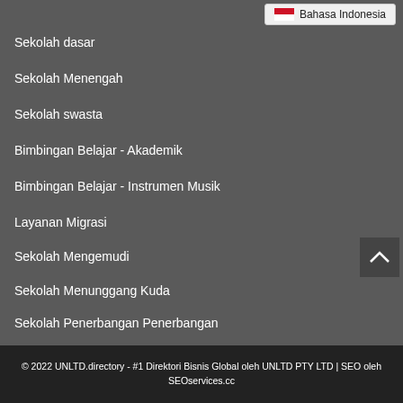[Figure (screenshot): Language selector button showing Indonesian flag and text 'Bahasa Indonesia']
Sekolah dasar
Sekolah Menengah
Sekolah swasta
Bimbingan Belajar - Akademik
Bimbingan Belajar - Instrumen Musik
Layanan Migrasi
Sekolah Mengemudi
Sekolah Menunggang Kuda
Sekolah Penerbangan Penerbangan
lebih ...
© 2022 UNLTD.directory - #1 Direktori Bisnis Global oleh UNLTD PTY LTD | SEO oleh SEOservices.cc